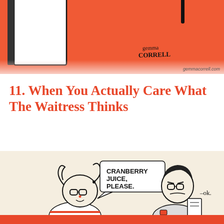[Figure (illustration): Top portion of a Gemma Correll illustration on an orange/red background showing a notebook and pen, with handwritten signature 'gemma CORRELL' and watermark 'gemmacorrell.com']
11. When You Actually Care What The Waitress Thinks
[Figure (illustration): Comic illustration showing two characters at a restaurant: a person with glasses and pigtails saying 'CRANBERRY JUICE, PLEASE.' and a waitress with glasses responding '-ok.' The scene is drawn in black ink on a cream/beige background.]